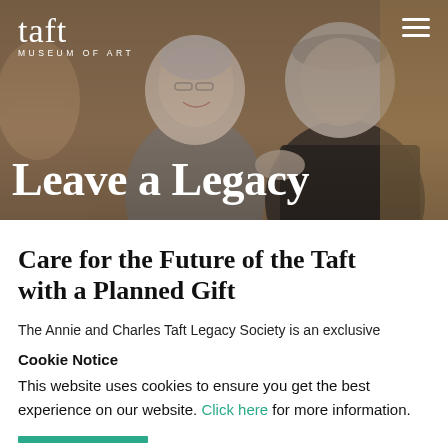[Figure (photo): Hero image showing elderly couple at a museum event with overlay text. Woman with short white hair and glasses smiling, man in dark suit. Warm indoor lighting.]
Leave a Legacy
Care for the Future of the Taft with a Planned Gift
The Annie and Charles Taft Legacy Society is an exclusive
Cookie Notice
This website uses cookies to ensure you get the best experience on our website. Click here for more information.